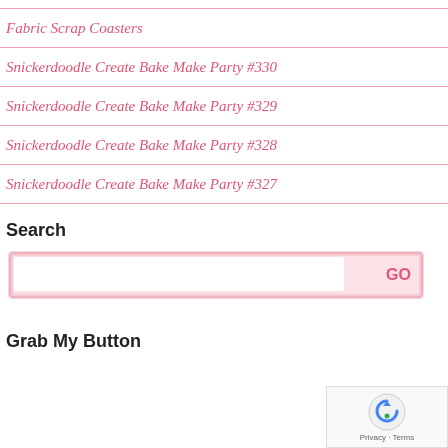Fabric Scrap Coasters
Snickerdoodle Create Bake Make Party #330
Snickerdoodle Create Bake Make Party #329
Snickerdoodle Create Bake Make Party #328
Snickerdoodle Create Bake Make Party #327
Search
Grab My Button